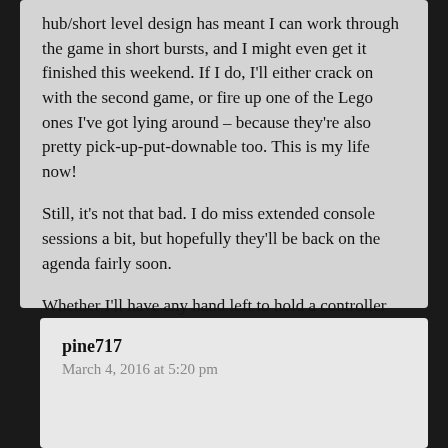hub/short level design has meant I can work through the game in short bursts, and I might even get it finished this weekend. If I do, I'll either crack on with the second game, or fire up one of the Lego ones I've got lying around – because they're also pretty pick-up-put-downable too. This is my life now!
Still, it's not that bad. I do miss extended console sessions a bit, but hopefully they'll be back on the agenda fairly soon.
Whether I'll have any hand left to hold a controller remains to be seen though…..
★ Liked by 1 person
pine717
March 4, 2016 at 5:20 pm